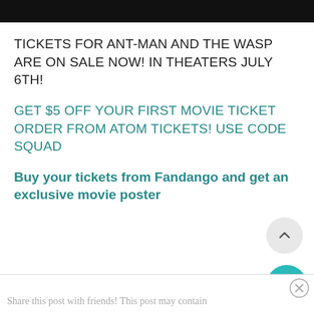[Figure (other): Black banner/header bar at the top of the page]
TICKETS FOR ANT-MAN AND THE WASP ARE ON SALE NOW! IN THEATERS JULY 6TH!
GET $5 OFF YOUR FIRST MOVIE TICKET ORDER FROM ATOM TICKETS! USE CODE SQUAD
Buy your tickets from Fandango and get an exclusive movie poster
Share this post with friends! This post may contain